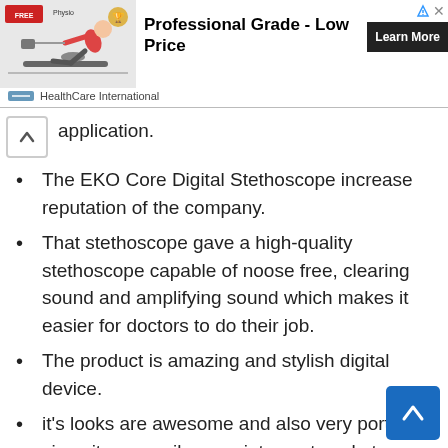[Figure (screenshot): Advertisement banner for HealthCare International showing a rowing machine exercise equipment. Headline reads 'Professional Grade - Low Price' with a 'Learn More' button.]
application.
The EKO Core Digital Stethoscope increase reputation of the company.
That stethoscope gave a high-quality stethoscope capable of noose free, clearing sound and amplifying sound which makes it easier for doctors to do their job.
The product is amazing and stylish digital device.
it's looks are awesome and also very port since it can easily carry into coat pocket.